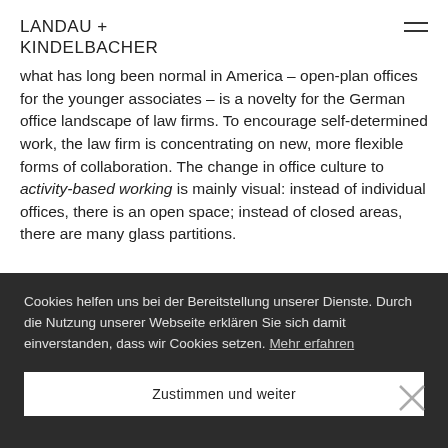LANDAU + KINDELBACHER
what has long been normal in America – open-plan offices for the younger associates – is a novelty for the German office landscape of law firms. To encourage self-determined work, the law firm is concentrating on new, more flexible forms of collaboration. The change in office culture to activity-based working is mainly visual: instead of individual offices, there is an open space; instead of closed areas, there are many glass partitions.
Cookies helfen uns bei der Bereitstellung unserer Dienste. Durch die Nutzung unserer Webseite erklären Sie sich damit einverstanden, dass wir Cookies setzen. Mehr erfahren
Zustimmen und weiter